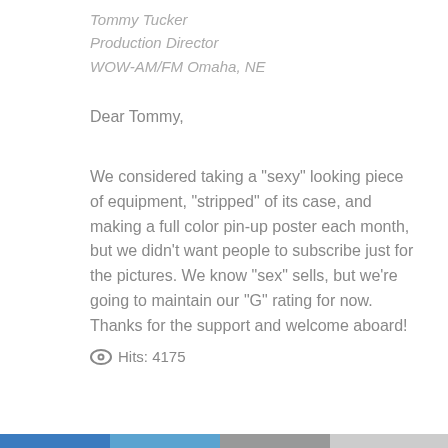Tommy Tucker
Production Director
WOW-AM/FM Omaha, NE
Dear Tommy,
We considered taking a "sexy" looking piece of equipment, "stripped" of its case, and making a full color pin-up poster each month, but we didn't want people to subscribe just for the pictures. We know "sex" sells, but we're going to maintain our "G" rating for now. Thanks for the support and welcome aboard!
Hits: 4175